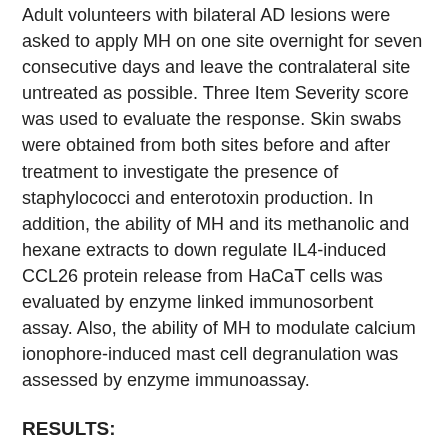Adult volunteers with bilateral AD lesions were asked to apply MH on one site overnight for seven consecutive days and leave the contralateral site untreated as possible. Three Item Severity score was used to evaluate the response. Skin swabs were obtained from both sites before and after treatment to investigate the presence of staphylococci and enterotoxin production. In addition, the ability of MH and its methanolic and hexane extracts to down regulate IL4-induced CCL26 protein release from HaCaT cells was evaluated by enzyme linked immunosorbent assay. Also, the ability of MH to modulate calcium ionophore-induced mast cell degranulation was assessed by enzyme immunoassay.
RESULTS:
In 14 patients, AD lesions significantly improved post MH treatment versus pre-treatment as compared to control lesions. No significant changes in the skin staphylococci were observed after day 7, irrespective of honey treatment. Consistent with the clinical observation, MH significantly down regulated IL4-induced CCL26 release from HaCaT cells in a dose-dependent manner. This effect was partially lost, though remained significant, when methanolic and